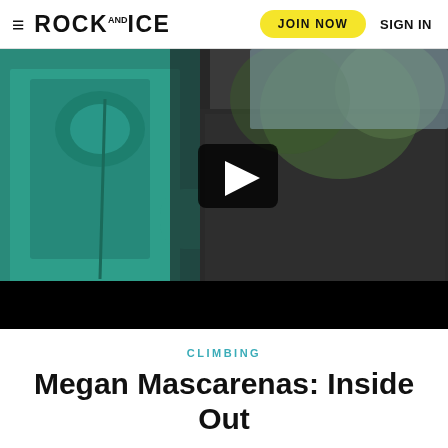≡ ROCK AND ICE  JOIN NOW  SIGN IN
[Figure (screenshot): Video thumbnail showing a person in a teal/green hoodie climbing or bouldering on dark rock, with a play button overlay in the center and a black control bar at the bottom.]
CLIMBING
Megan Mascarenas: Inside Out